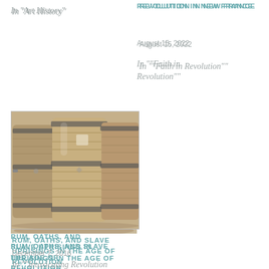In "Art History"
REVOLUTION IN NEW FRANCE
August 15, 2022
In ""Faith in Revolution""
[Figure (photo): Three large wooden barrels/casks stored in a cellar or warehouse, showing wood grain and metal bands]
RUM, OATHS, AND SLAVE UPRISINGS IN THE AGE OF REVOLUTION
December 7, 2016
In ""Intoxicating Revolution